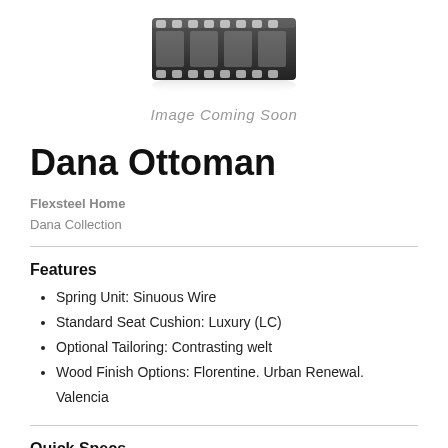[Figure (illustration): Film reel graphic placeholder with reflection, labeled 'Image Coming Soon']
Image Coming Soon
Dana Ottoman
Flexsteel Home
Dana Collection
Features
Spring Unit: Sinuous Wire
Standard Seat Cushion: Luxury (LC)
Optional Tailoring: Contrasting welt
Wood Finish Options: Florentine. Urban Renewal. Valencia
Quick Specs